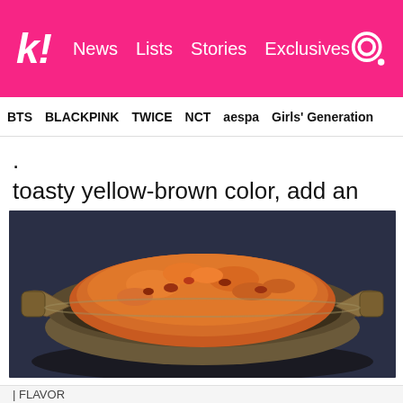k! News Lists Stories Exclusives [search]
BTS BLACKPINK TWICE NCT aespa Girls' Generation
. toasty yellow-brown color, add an egg.
[Figure (photo): A metal pan (kadai) filled with kimchi fried rice, golden-brown and orange colored, with two handles, on a dark background]
| FLAVOR